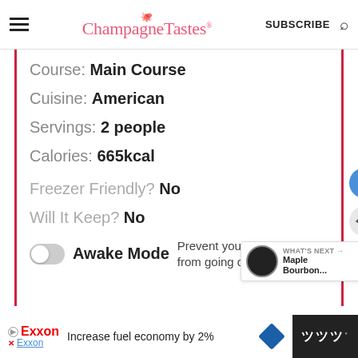ChampagneTastes® SUBSCRIBE
Course: Main Course
Cuisine: American
Servings: 2 people
Calories: 665kcal
Freezer Friendly? No
Will It Keep? No
Awake Mode  Prevent your screen from going d...
WHAT'S NEXT → Maple Bourbon...
Increase fuel economy by 2% Exxon